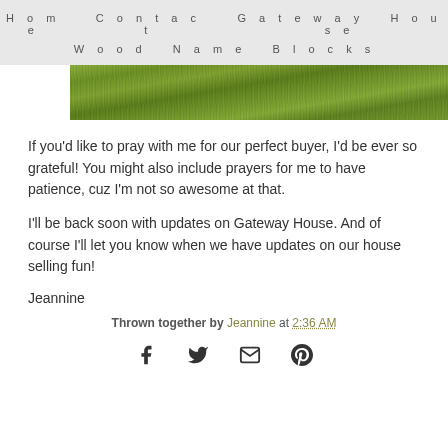Home   Contact   Gateway House   Wood Name Blocks
[Figure (photo): Green grass/lawn texture banner image]
If you'd like to pray with me for our perfect buyer, I'd be ever so grateful! You might also include prayers for me to have patience, cuz I'm not so awesome at that.
I'll be back soon with updates on Gateway House. And of course I'll let you know when we have updates on our house selling fun!
Jeannine
Thrown together by Jeannine at 2:36 AM
[Figure (infographic): Social sharing icons: Facebook, Twitter, Email, Pinterest]